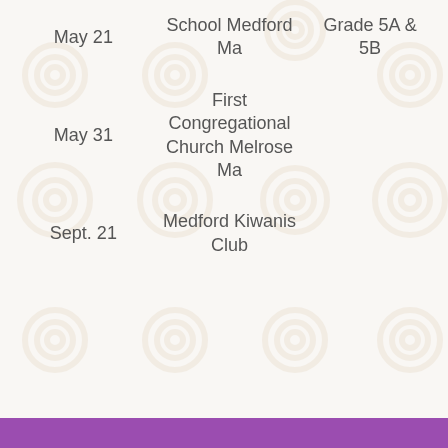| May 21 | School Medford Ma | Grade 5A & 5B |
| May 31 | First Congregational Church Melrose Ma |  |
| Sept. 21 | Medford Kiwanis Club |  |